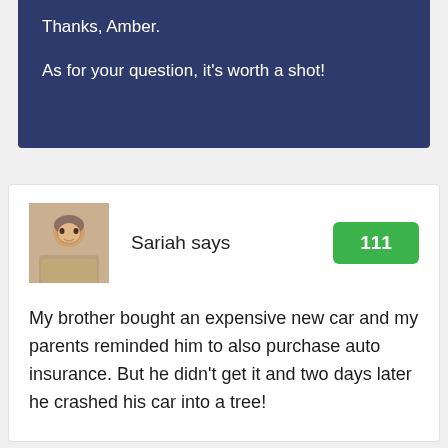Thanks, Amber.

As for your question, it's worth a shot!
[Figure (photo): Profile photo of a woman with short blonde hair looking stern]
Sariah says
111
My brother bought an expensive new car and my parents reminded him to also purchase auto insurance. But he didn't get it and two days later he crashed his car into a tree!